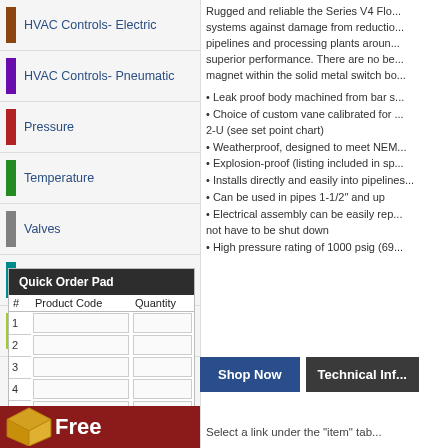HVAC Controls- Electric
HVAC Controls- Pneumatic
Pressure
Temperature
Valves
VFDs & Electrical
Wireless Devices
Quick Order Pad
| #Product Code | Quantity |
| --- | --- |
| 1 |  |
| 2 |  |
| 3 |  |
| 4 |  |
| 5 |  |
Rugged and reliable the Series V4 Flo... systems against damage from reduction... pipelines and processing plants aroun... superior performance. There are no be... magnet within the solid metal switch bo...
Leak proof body machined from bar s...
Choice of custom vane calibrated for ... 2-U (see set point chart)
Weatherproof, designed to meet NEM...
Explosion-proof (listing included in sp...
Installs directly and easily into pipelin...
Can be used in pipes 1-1/2" and up
Electrical assembly can be easily rep... not have to be shut down
High pressure rating of 1000 psig (69...
Shop Now
Technical Inf...
Select a link under the "item" tab...
Free